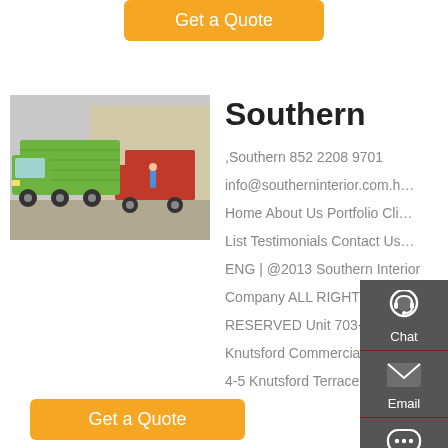[Figure (other): Orange 'Get a Quote' button at top center]
[Figure (photo): Green dump truck (Sinotruk HOWO) parked in a lot with other trucks visible in background]
Southern
,Southern 852 2208 9701
info@southerninterior.com.h...
Home About Us Portfolio Cli...
List Testimonials Contact Us...
ENG | @2013 Southern Interior
Company ALL RIGHTS
RESERVED Unit 703-4
Knutsford Commercial Building,
4-5 Knutsford Terrace
[Figure (other): Orange 'Get a Quote' button at bottom]
[Figure (infographic): Dark gray sidebar with Chat (headset icon), Email (envelope icon), Contact (speech bubble icon), and Top (arrow up icon) buttons]